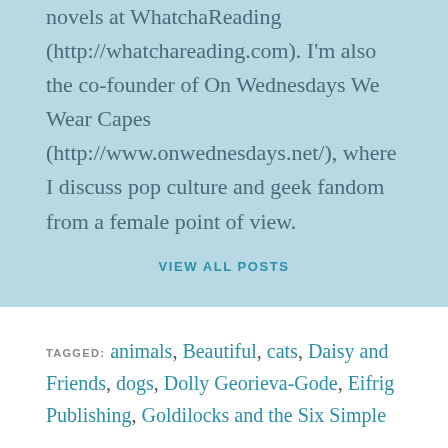novels at WhatchaReading (http://whatchareading.com). I'm also the co-founder of On Wednesdays We Wear Capes (http://www.onwednesdays.net/), where I discuss pop culture and geek fandom from a female point of view.
VIEW ALL POSTS
TAGGED: animals, Beautiful, cats, Daisy and Friends, dogs, Dolly Georieva-Gode, Eifrig Publishing, Goldilocks and the Six Simple